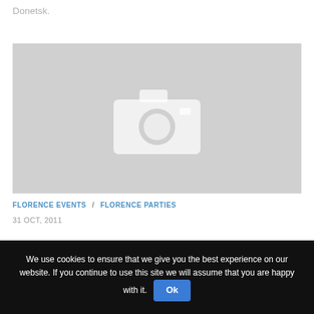Donetsk.
[Figure (photo): Gray placeholder image with a white camera icon in the center]
FLORENCE EVENTS / FLORENCE PARTIES
31 OCT, 2011
Autun i W...in Fl...
We use cookies to ensure that we give you the best experience on our website. If you continue to use this site we will assume that you are happy with it. Ok